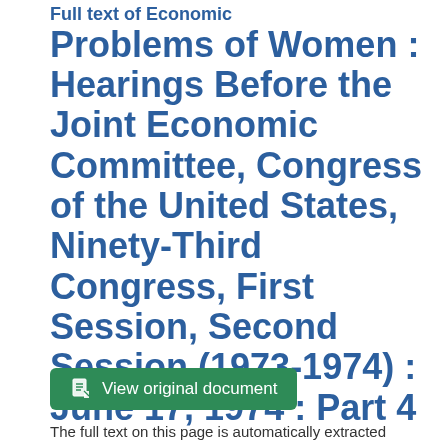Full text of Economic Problems of Women : Hearings Before the Joint Economic Committee, Congress of the United States, Ninety-Third Congress, First Session, Second Session (1973-1974) : June 17, 1974 : Part 4
[Figure (other): Green button labeled 'View original document' with a document icon]
The full text on this page is automatically extracted